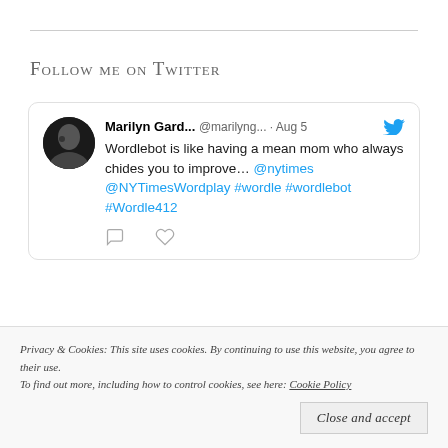Follow me on Twitter
Marilyn Gard... @marilyng... · Aug 5
Wordlebot is like having a mean mom who always chides you to improve… @nytimes @NYTimesWordplay #wordle #wordlebot #Wordle412
Marilyn Gard... @marilyng... · Jul 16
"People develop new understandings of
Privacy & Cookies: This site uses cookies. By continuing to use this website, you agree to their use.
To find out more, including how to control cookies, see here: Cookie Policy
Close and accept
022/07/16/tck...